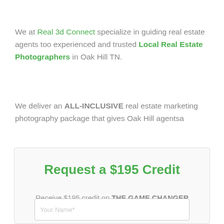We at Real 3d Connect specialize in guiding real estate agents too experienced and trusted Local Real Estate Photographers in Oak Hill TN.
We deliver an ALL-INCLUSIVE real estate marketing photography package that gives Oak Hill agentsa
Request a $195 Credit
Receive $195 credit on THE GAME CHANGER